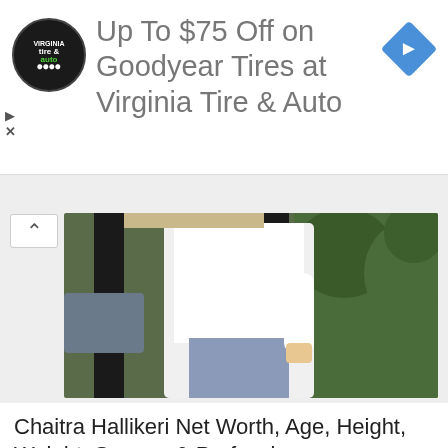[Figure (infographic): Advertisement banner: circular tire & auto logo on black background, text 'Up To $75 Off on Goodyear Tires at Virginia Tire & Auto', blue diamond navigation icon on right, play and close controls on left]
[Figure (photo): Photo of a person wearing a white oversized shirt with blue jeans, standing outdoors near dark pillars and greenery]
Chaitra Hallikeri Net Worth, Age, Height, Weight, Spouse & Profession
[Figure (photo): Photo of a young woman with dark hair pulled back, wearing a white blazer, smiling slightly, seated at a table in a restaurant setting with other people in the background]